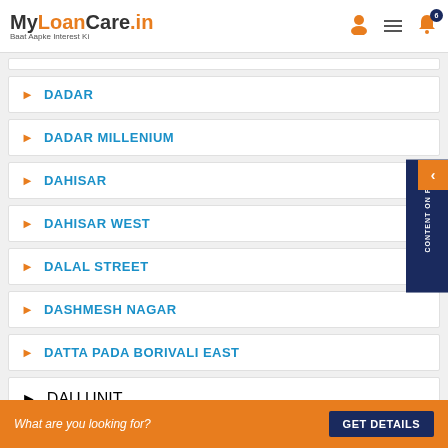MyLoanCare.in — Baat Aapke Interest Ki
DADAR
DADAR MILLENIUM
DAHISAR
DAHISAR WEST
DALAL STREET
DASHMESH NAGAR
DATTA PADA BORIVALI EAST
DAU UNIT
What are you looking for?
GET DETAILS